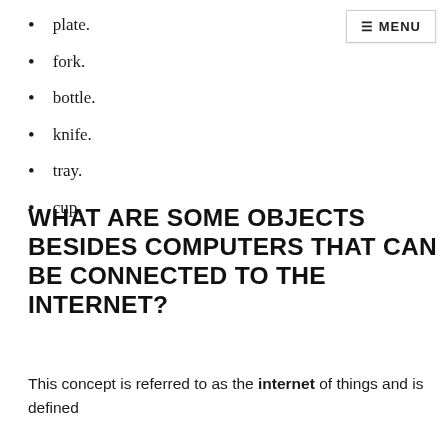plate.
fork.
bottle.
knife.
tray.
cup.
WHAT ARE SOME OBJECTS BESIDES COMPUTERS THAT CAN BE CONNECTED TO THE INTERNET?
This concept is referred to as the internet of things and is defined as any network of physical devices that are interconnected....10